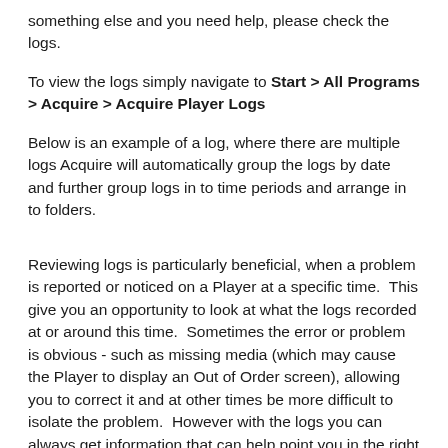something else and you need help, please check the logs.
To view the logs simply navigate to Start > All Programs > Acquire > Acquire Player Logs
Below is an example of a log, where there are multiple logs Acquire will automatically group the logs by date and further group logs in to time periods and arrange in to folders.
Reviewing logs is particularly beneficial, when a problem is reported or noticed on a Player at a specific time.  This give you an opportunity to look at what the logs recorded at or around this time.  Sometimes the error or problem is obvious - such as missing media (which may cause the Player to display an Out of Order screen), allowing you to correct it and at other times be more difficult to isolate the problem.  However with the logs you can always get information that can help point you in the right direction to determine the pro